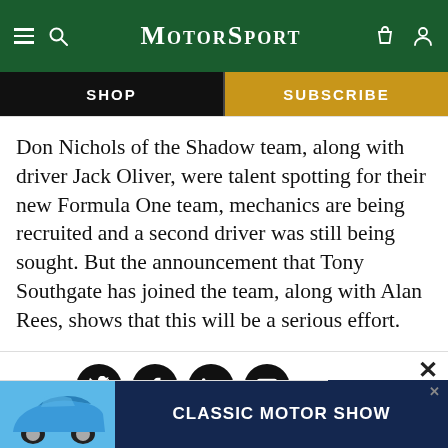MotorSport
SHOP
SUBSCRIBE
Don Nichols of the Shadow team, along with driver Jack Oliver, were talent spotting for their new Formula One team, mechanics are being recruited and a second driver was still being sought. But the announcement that Tony Southgate has joined the team, along with Alan Rees, shows that this will be a serious effort.
SHARE
[Figure (screenshot): Advertisement banner for Classic Motor Show featuring a blue Porsche 911 and text 'CLASSIC MOTOR SHOW' on dark blue background]